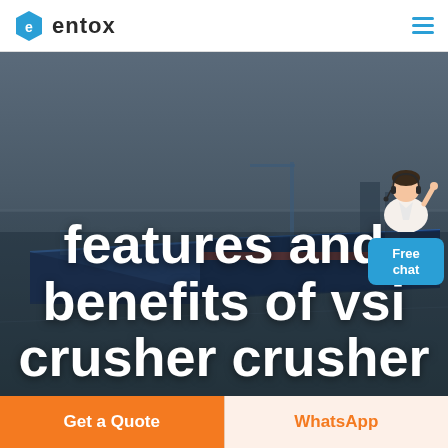entox
[Figure (photo): Aerial view of an industrial facility with blue warehouse buildings and flat terrain, used as hero background image]
[Figure (illustration): Customer service avatar illustration - person in white shirt with headset, with a blue Free chat button below]
features and benefits of vsi crusher crusher
Get a Quote
WhatsApp